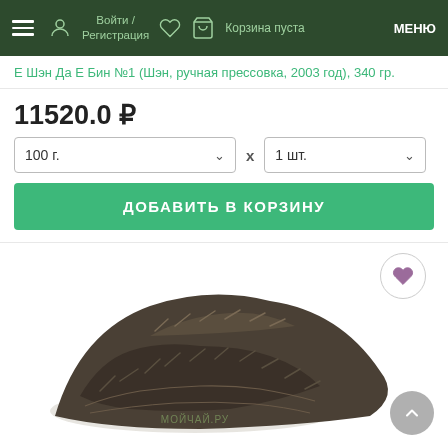Войти / Регистрация   Корзина пуста   МЕНЮ
Е Шэн Да Е Бин №1 (Шэн, ручная прессовка, 2003 год), 340 гр.
11520.0 ₽
100 г.  x  1 шт.
ДОБАВИТЬ В КОРЗИНУ
[Figure (photo): Pile of loose dark pu-erh tea leaves on a white background, with a watermark reading МОЙЧАЙ.РУ]
ШУ ПУЭР РАССЫПНОЙ